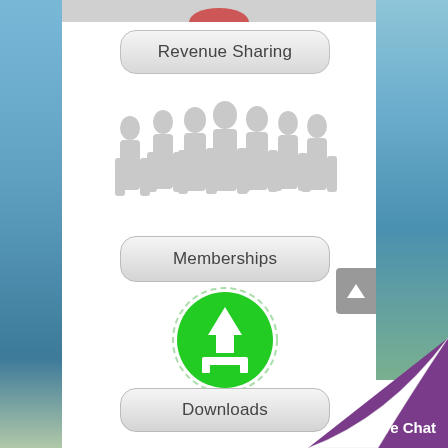[Figure (illustration): Gray silhouette of a group of people walking]
Revenue Sharing
Memberships
[Figure (illustration): Green circle download button icon with white downward arrow and tray]
Downloads
Live Chat